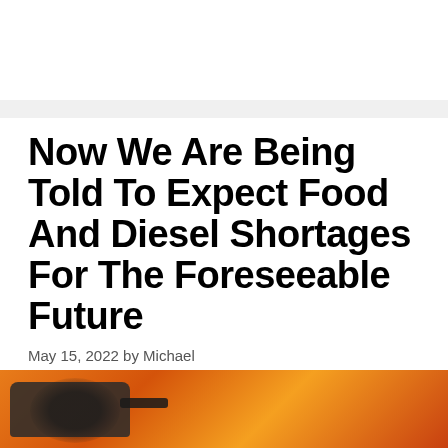Now We Are Being Told To Expect Food And Diesel Shortages For The Foreseeable Future
May 15, 2022 by Michael
[Figure (infographic): Three social share buttons: Facebook (blue, f icon), Twitter (cyan, bird icon), Email (yellow, envelope icon)]
[Figure (photo): Close-up photo of a dark pan or cooking vessel against an orange/fire background, partially visible at bottom of page]